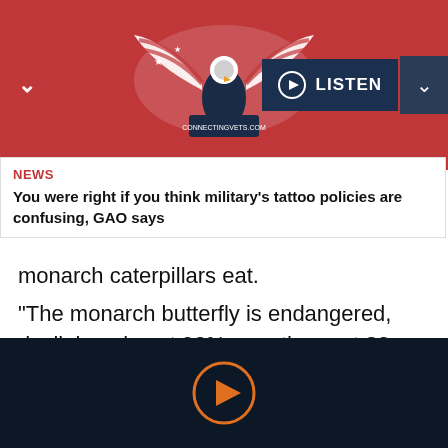[Figure (logo): ConnectingVets.com eagle logo with American flag wings on red background header with LISTEN button]
NEWS
You were right if you think military's tattoo policies are confusing, GAO says
monarch caterpillars eat.
“The monarch butterfly is endangered, declining almost 90% over the past 20 years,” Petersen said. The garden now is an official monarch butterfly migration pathway station.
[Figure (other): Dark navy footer bar with orange play button circle icon]